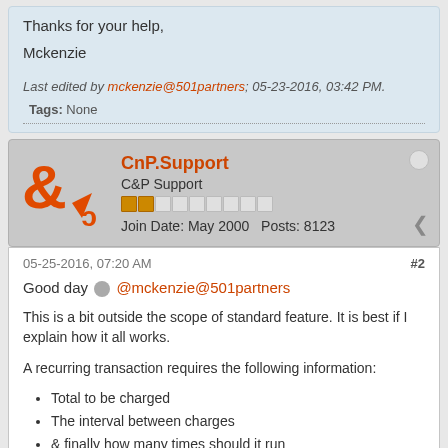Thanks for your help,
Mckenzie
Last edited by mckenzie@501partners; 05-23-2016, 03:42 PM.
Tags: None
CnP.Support
C&P Support
Join Date: May 2000   Posts: 8123
05-25-2016, 07:20 AM   #2
Good day @mckenzie@501partners
This is a bit outside the scope of standard feature. It is best if I explain how it all works.
A recurring transaction requires the following information:
Total to be charged
The interval between charges
& finally how many times should it run
So I suggest you do the calculation to determine the best...